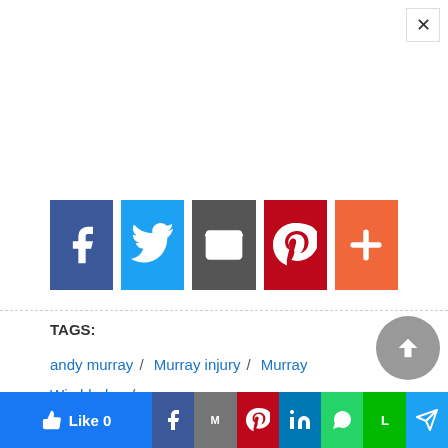[Figure (screenshot): Social share buttons: Facebook (blue), Twitter (light blue), Email (dark gray), Pinterest (red), More/plus (orange-red)]
TAGS:
andy murray / Murray injury / Murray Wimbledon / wimbledon
[Figure (screenshot): Bottom share bar with Like 0, Facebook, Gmail, Pinterest, LinkedIn, WhatsApp, Line, Share buttons]